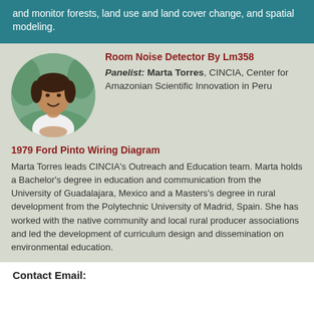and monitor forests, land use and land cover change, and spatial modeling.
Room Noise Detector By Lm358
Panelist: Marta Torres, CINCIA, Center for Amazonian Scientific Innovation in Peru
1979 Ford Pinto Wiring Diagram
[Figure (photo): Circular portrait photo of Marta Torres, a woman smiling outdoors with greenery in the background, wearing a white top.]
Marta Torres leads CINCIA's Outreach and Education team. Marta holds a Bachelor's degree in education and communication from the University of Guadalajara, Mexico and a Masters's degree in rural development from the Polytechnic University of Madrid, Spain. She has worked with the native community and local rural producer associations and led the development of curriculum design and dissemination on environmental education.
Contact Email: